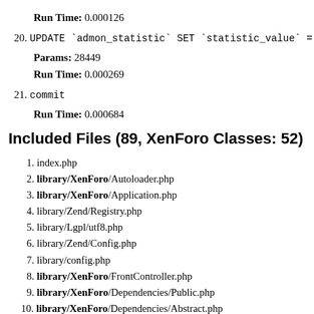Run Time: 0.000126
20. UPDATE `admon_statistic` SET `statistic_value` = ? W
Params: 28449
Run Time: 0.000269
21. commit
Run Time: 0.000684
Included Files (89, XenForo Classes: 52)
1. index.php
2. library/XenForo/Autoloader.php
3. library/XenForo/Application.php
4. library/Zend/Registry.php
5. library/Lgpl/utf8.php
6. library/Zend/Config.php
7. library/config.php
8. library/XenForo/FrontController.php
9. library/XenForo/Dependencies/Public.php
10. library/XenForo/Dependencies/Abstract.php
11. library/Zend/Controller/Request/Http.php
12. library/Zend/Controller/Request/Abstract.php